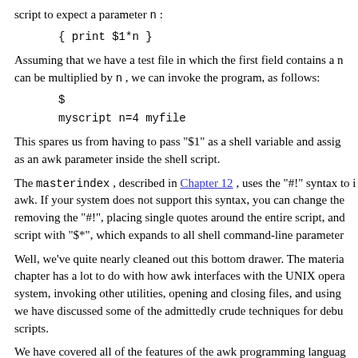script to expect a parameter n :
{ print $1*n }
Assuming that we have a test file in which the first field contains a number that can be multiplied by n , we can invoke the program, as follows:
$
myscript n=4 myfile
This spares us from having to pass "$1" as a shell variable and assign it as an awk parameter inside the shell script.
The masterindex , described in Chapter 12 , uses the "#!" syntax to invoke awk. If your system does not support this syntax, you can change the script by removing the "#!", placing single quotes around the entire script, and replacing the script with "$*", which expands to all shell command-line parameters.
Well, we've quite nearly cleaned out this bottom drawer. The material in this chapter has a lot to do with how awk interfaces with the UNIX operating system, invoking other utilities, opening and closing files, and using pipes. Also, we have discussed some of the admittedly crude techniques for debugging awk scripts.
We have covered all of the features of the awk programming language and concentrated on the POSIX specification for awk, with only an occasional mention of gawk and its extensions. The next chapter covers